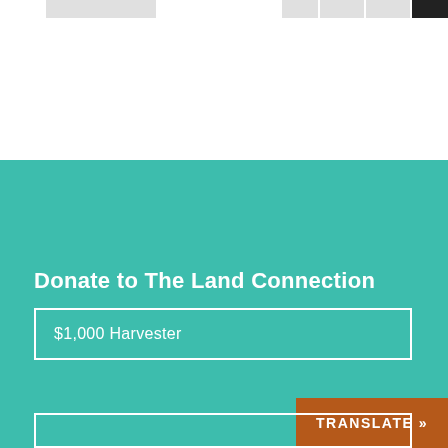[Figure (screenshot): Top navigation bar with logo placeholder, nav buttons, and a dark button on the right]
Donate to The Land Connection
$1,000 Harvester
TRANSLATE »